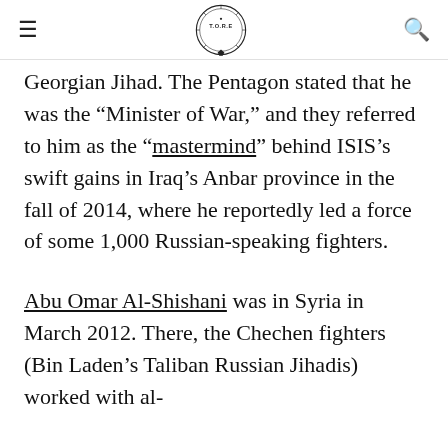T.O.R.E
Georgian Jihad. The Pentagon stated that he was the “Minister of War,” and they referred to him as the “mastermind” behind ISIS’s swift gains in Iraq’s Anbar province in the fall of 2014, where he reportedly led a force of some 1,000 Russian-speaking fighters.
Abu Omar Al-Shishani was in Syria in March 2012. There, the Chechen fighters (Bin Laden’s Taliban Russian Jihadis) worked with al-